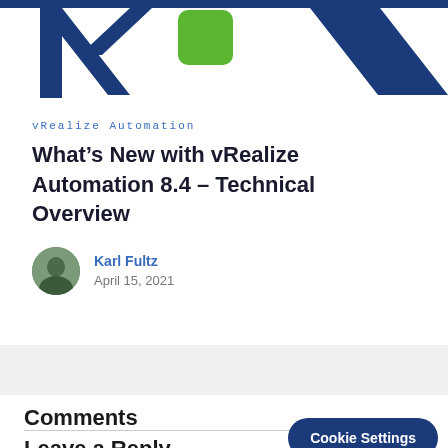[Figure (illustration): Partial view of VMware/vRealize Automation logo graphic with dark blue and green shapes on white background, with a dark blue top banner bar]
vRealize Automation
What's New with vRealize Automation 8.4 – Technical Overview
Karl Fultz
April 15, 2021
Comments
Leave a Reply